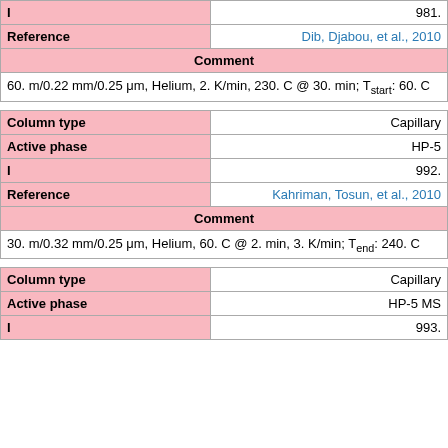| I | 981. |
| Reference | Dib, Djabou, et al., 2010 |
| Comment |  |
| 60. m/0.22 mm/0.25 μm, Helium, 2. K/min, 230. C @ 30. min; Tstart: 60. C |  |
| Column type | Capillary |
| Active phase | HP-5 |
| I | 992. |
| Reference | Kahriman, Tosun, et al., 2010 |
| Comment |  |
| 30. m/0.32 mm/0.25 μm, Helium, 60. C @ 2. min, 3. K/min; Tend: 240. C |  |
| Column type | Capillary |
| Active phase | HP-5 MS |
| I | 993. |